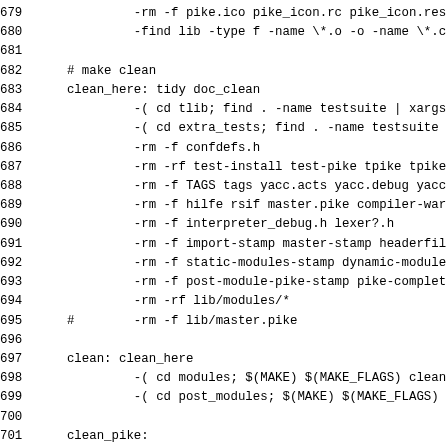679               -rm -f pike.ico pike_icon.rc pike_icon.res
680               -find lib -type f -name \*.o -o -name \*.c
681
682      # make clean
683      clean_here: tidy doc_clean
684               -( cd tlib; find . -name testsuite | xargs
685               -( cd extra_tests; find . -name testsuite
686               -rm -f confdefs.h
687               -rm -rf test-install test-pike tpike tpike
688               -rm -f TAGS tags yacc.acts yacc.debug yacc
689               -rm -f hilfe rsif master.pike compiler-war
690               -rm -f interpreter_debug.h lexer?.h
691               -rm -f import-stamp master-stamp headerfil
692               -rm -f static-modules-stamp dynamic-module
693               -rm -f post-module-pike-stamp pike-complet
694               -rm -rf lib/modules/*
695      #        -rm -f lib/master.pike
696
697      clean: clean_here
698               -( cd modules; $(MAKE) $(MAKE_FLAGS) clean
699               -( cd post_modules; $(MAKE) $(MAKE_FLAGS)
700
701      clean_pike:
702               -rm -f pike pike.lib pike.exe pike.exe.man
703
704      # Clean up everything that needs to go if the conf
705      config_change_clean: clean clean_pike